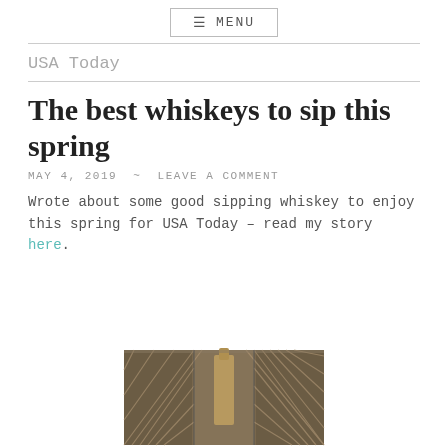≡ MENU
USA Today
The best whiskeys to sip this spring
MAY 4, 2019 ~ LEAVE A COMMENT
Wrote about some good sipping whiskey to enjoy this spring for USA Today – read my story here.
[Figure (photo): Decorative art-deco style whiskey box with geometric chevron pattern, copper/bronze tones, partially open showing a bottle inside]